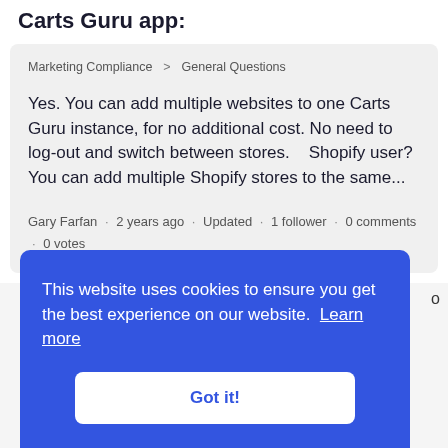Carts Guru app:
Marketing Compliance  >  General Questions
Yes. You can add multiple websites to one Carts Guru instance, for no additional cost. No need to log-out and switch between stores.   Shopify user? You can add multiple Shopify stores to the same...
Gary Farfan · 2 years ago · Updated · 1 follower · 0 comments · 0 votes
This website uses cookies to ensure you get the best experience on our website. Learn more
Got it!